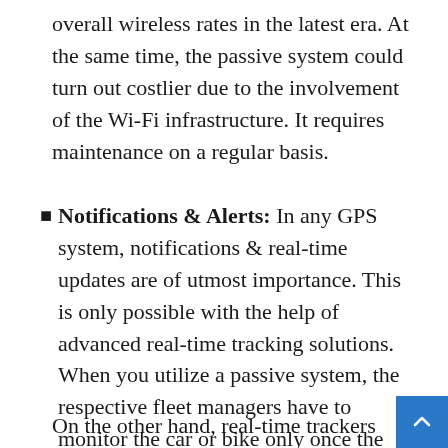overall wireless rates in the latest era. At the same time, the passive system could turn out costlier due to the involvement of the Wi-Fi infrastructure. It requires maintenance on a regular basis.
Notifications & Alerts: In any GPS system, notifications & real-time updates are of utmost importance. This is only possible with the help of advanced real-time tracking solutions. When you utilize a passive system, the respective fleet managers have to monitor the car or bike only once the vehicle is back to the destination.
On the other hand, real-time trackers allow the